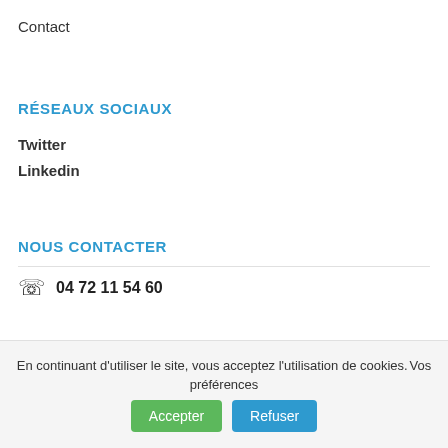Contact
RÉSEAUX SOCIAUX
Twitter
Linkedin
NOUS CONTACTER
04 72 11 54 60
En continuant d'utiliser le site, vous acceptez l'utilisation de cookies. Vos préférences
Accepter
Refuser